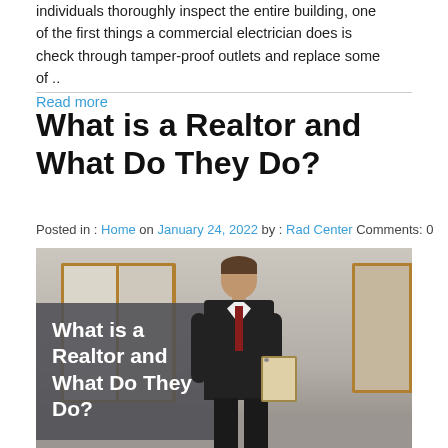individuals thoroughly inspect the entire building, one of the first things a commercial electrician does is check through tamper-proof outlets and replace some of ..
Read more
What is a Realtor and What Do They Do?
Posted in : Home on January 24, 2022 by : Rad Center Comments: 0
[Figure (photo): A man in a dark suit holding a clipboard standing in front of wooden-framed windows, with a dark overlay box on the left showing the article title text 'What is a Realtor and What Do They Do?']